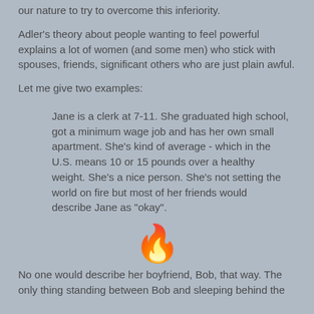our nature to try to overcome this inferiority.
Adler's theory about people wanting to feel powerful explains a lot of women (and some men) who stick with spouses, friends, significant others who are just plain awful.
Let me give two examples:
Jane is a clerk at 7-11. She graduated high school, got a minimum wage job and has her own small apartment. She's kind of average - which in the U.S. means 10 or 15 pounds over a healthy weight. She's a nice person. She's not setting the world on fire but most of her friends would describe Jane as "okay".
[Figure (illustration): Campfire emoji]
No one would describe her boyfriend, Bob, that way. The only thing standing between Bob and sleeping behind the